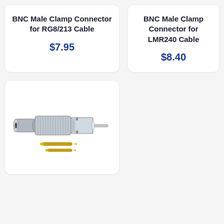BNC Male Clamp Connector for RG8/213 Cable
$7.95
BNC Male Clamp Connector for LMR240 Cable
$8.40
[Figure (photo): BNC male clamp connector disassembled showing the main body (silvery knurled barrel with BNC male plug end) and two gold-plated pin components, on white background]